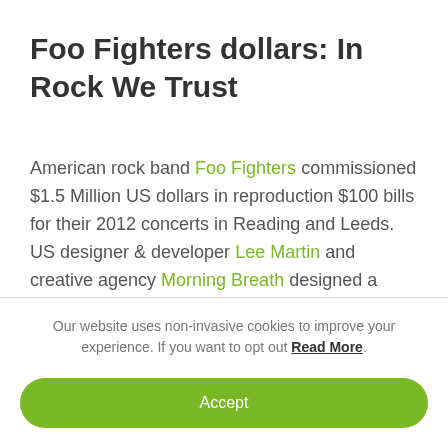Foo Fighters dollars: In Rock We Trust
American rock band Foo Fighters commissioned $1.5 Million US dollars in reproduction $100 bills for their 2012 concerts in Reading and Leeds. US designer & developer Lee Martin and creative agency Morning Breath designed a rock-lookalike of the infamous Benjamin Franklin 2006 series
Our website uses non-invasive cookies to improve your experience. If you want to opt out Read More.
Accept